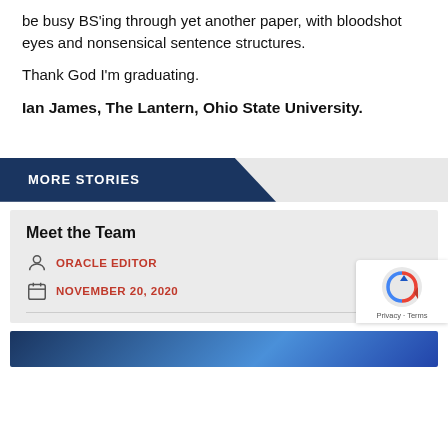be busy BS'ing through yet another paper, with bloodshot eyes and nonsensical sentence structures.
Thank God I'm graduating.
Ian James, The Lantern, Ohio State University.
MORE STORIES
Meet the Team
ORACLE EDITOR
NOVEMBER 20, 2020
[Figure (screenshot): reCAPTCHA badge with Privacy and Terms links]
[Figure (photo): Partial blue-toned image at bottom of page]